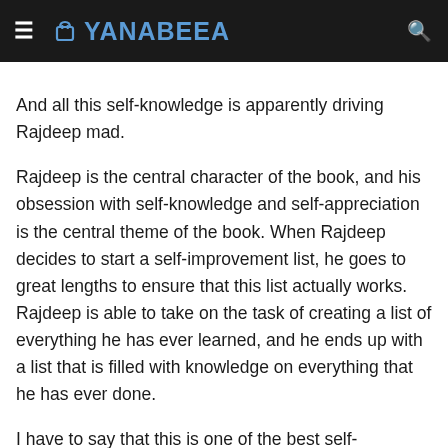YANABEEA
And all this self-knowledge is apparently driving Rajdeep mad.
Rajdeep is the central character of the book, and his obsession with self-knowledge and self-appreciation is the central theme of the book. When Rajdeep decides to start a self-improvement list, he goes to great lengths to ensure that this list actually works. Rajdeep is able to take on the task of creating a list of everything he has ever learned, and he ends up with a list that is filled with knowledge on everything that he has ever done.
I have to say that this is one of the best self-improvement stories I've read. Rajdeep has always been the type of character who was always too busy to think about himself and what he wanted, so he started a list on the side to help him